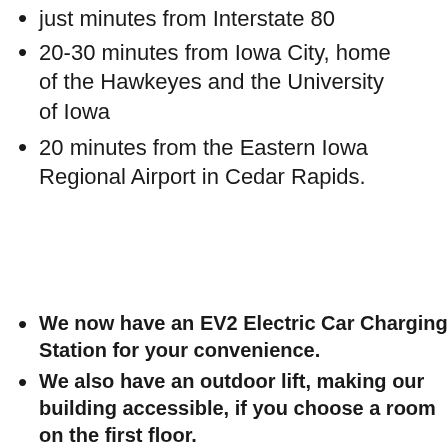just minutes from Interstate 80
20-30 minutes from Iowa City, home of the Hawkeyes and the University of Iowa
20 minutes from the Eastern Iowa Regional Airport in Cedar Rapids.
We now have an EV2 Electric Car Charging Station for your convenience.
We also have an outdoor lift, making our building accessible, if you choose a room on the first floor.